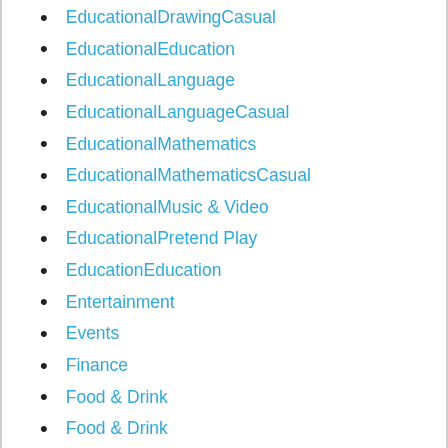EducationalDrawingCasual
EducationalEducation
EducationalLanguage
EducationalLanguageCasual
EducationalMathematics
EducationalMathematicsCasual
EducationalMusic & Video
EducationalPretend Play
EducationEducation
Entertainment
Events
Finance
Food & Drink
Food & Drink
Games
Health & Fitness
Health & Fitness